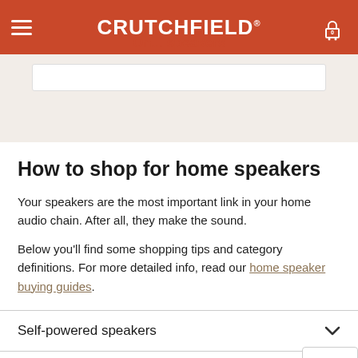CRUTCHFIELD
On... speakers
How to shop for home speakers
Your speakers are the most important link in your home audio chain. After all, they make the sound.
Below you'll find some shopping tips and category definitions. For more detailed info, read our home speaker buying guides.
Self-powered speakers
Non-powered speakers